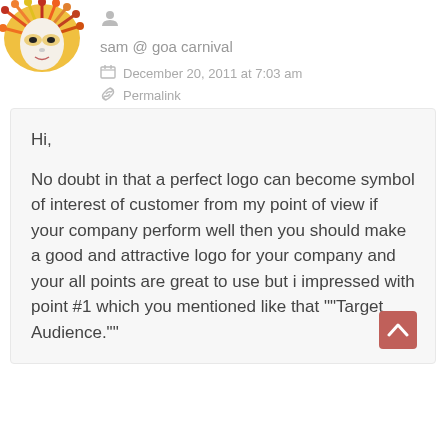[Figure (illustration): Carnival mask avatar image in top-left corner, colorful with red, orange, yellow feathers and white mask face]
sam @ goa carnival
December 20, 2011 at 7:03 am
Permalink
Hi,

No doubt in that a perfect logo can become symbol of interest of customer from my point of view if your company perform well then you should make a good and attractive logo for your company and your all points are great to use but i impressed with point #1 which you mentioned like that ""Target Audience.""